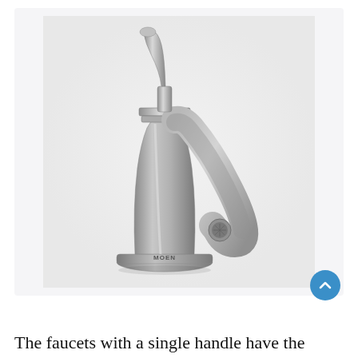[Figure (photo): A Moen single-handle bathroom faucet in brushed nickel/chrome finish, shown against a light gray background. The faucet has a tall cylindrical body with a curved spout arching to the right and a single lever handle on top angled upward to the left. The Moen logo is visible on the base.]
The faucets with a single handle have the